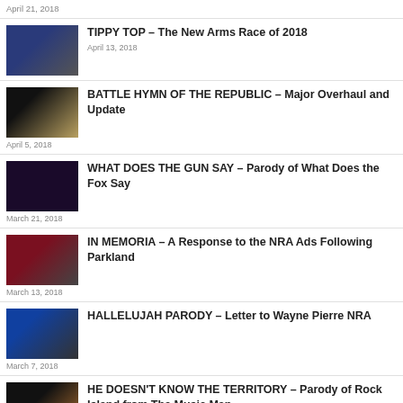April 21, 2018
TIPPY TOP – The New Arms Race of 2018
April 13, 2018
BATTLE HYMN OF THE REPUBLIC – Major Overhaul and Update
April 5, 2018
WHAT DOES THE GUN SAY – Parody of What Does the Fox Say
March 21, 2018
IN MEMORIA – A Response to the NRA Ads Following Parkland
March 13, 2018
HALLELUJAH PARODY – Letter to Wayne Pierre NRA
March 7, 2018
HE DOESN'T KNOW THE TERRITORY – Parody of Rock Island from The Music Man